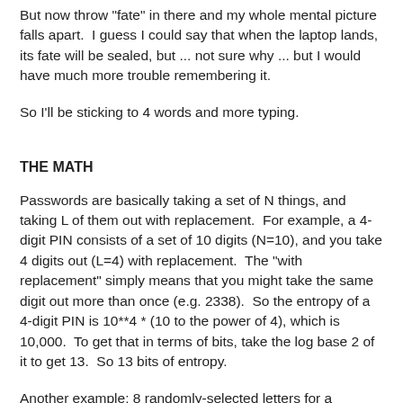But now throw "fate" in there and my whole mental picture falls apart.  I guess I could say that when the laptop lands, its fate will be sealed, but ... not sure why ... but I would have much more trouble remembering it.
So I'll be sticking to 4 words and more typing.
THE MATH
Passwords are basically taking a set of N things, and taking L of them out with replacement.  For example, a 4-digit PIN consists of a set of 10 digits (N=10), and you take 4 digits out (L=4) with replacement.  The "with replacement" simply means that you might take the same digit out more than once (e.g. 2338).  So the entropy of a 4-digit PIN is 10**4 * (10 to the power of 4), which is 10,000.  To get that in terms of bits, take the log base 2 of it to get 13.  So 13 bits of entropy.
Another example: 8 randomly-selected letters for a password.  Let's assume lower-case only, and no digits or